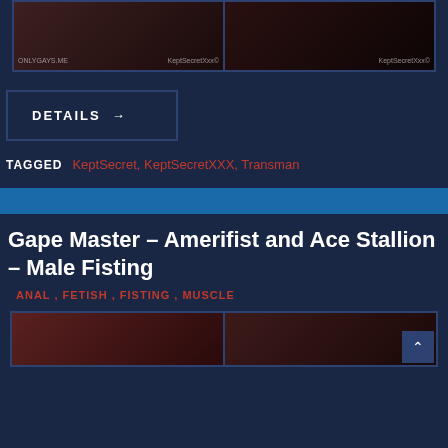[Figure (photo): Two side-by-side thumbnail images with watermarks 'ONLYGAYS.ME' and 'KeptSecretXxx©' on left, 'KeptSecretXxx©' on right]
DETAILS →
TAGGED   KeptSecret, KeptSecretXXX, Transman
Gape Master – Amerifist and Ace Stallion – Male Fisting
ANAL , FETISH , FISTING , MUSCLE
[Figure (photo): Two side-by-side thumbnail images at bottom of page]